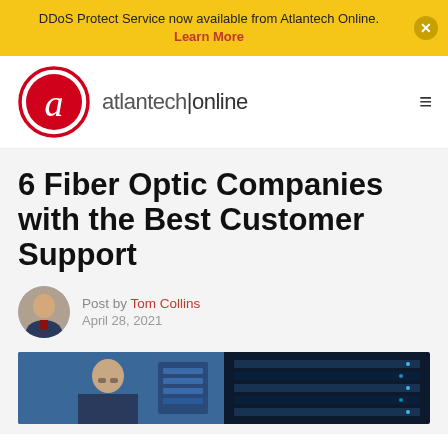DDoS Protect Service now available from Atlantech Online. Learn More
[Figure (logo): Atlantech Online logo: red circle with white letter a, followed by text 'atlantech|online']
6 Fiber Optic Companies with the Best Customer Support
Post by Tom Collins
April 28, 2021
[Figure (photo): Photo of a man wearing glasses looking at network equipment, with a dark server rack on the right]